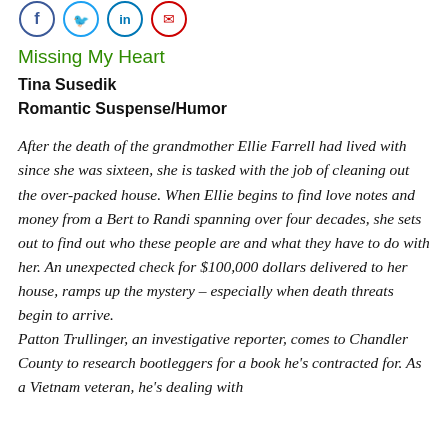[Figure (other): Four social media share icon circles at the top: Facebook (blue), Twitter (blue), LinkedIn (blue), Email/Pinterest (red)]
Missing My Heart
Tina Susedik
Romantic Suspense/Humor
After the death of the grandmother Ellie Farrell had lived with since she was sixteen, she is tasked with the job of cleaning out the over-packed house. When Ellie begins to find love notes and money from a Bert to Randi spanning over four decades, she sets out to find out who these people are and what they have to do with her. An unexpected check for $100,000 dollars delivered to her house, ramps up the mystery – especially when death threats begin to arrive.
Patton Trullinger, an investigative reporter, comes to Chandler County to research bootleggers for a book he's contracted for. As a Vietnam veteran, he's dealing with PTID. When he meets Ellie, he finds he can...